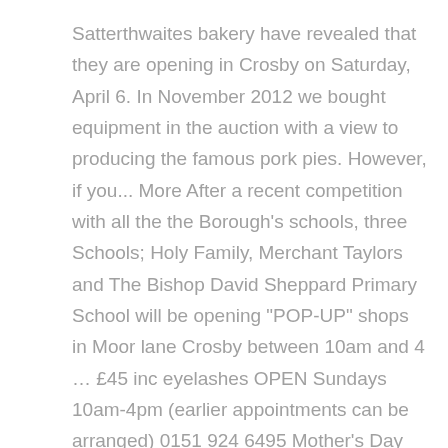Satterthwaites bakery have revealed that they are opening in Crosby on Saturday, April 6. In November 2012 we bought equipment in the auction with a view to producing the famous pork pies. However, if you... More After a recent competition with all the the Borough's schools, three Schools; Holy Family, Merchant Taylors and The Bishop David Sheppard Primary School will be opening "POP-UP" shops in Moor lane Crosby between 10am and 4 ... £45 inc eyelashes OPEN Sundays 10am-4pm (earlier appointments can be arranged) 0151 924 6495 Mother's Day boxes available to buy in Satterthwaites, Crosby Limited stock #sellinglikehotcakes #treattheoneyoulove @satterbake